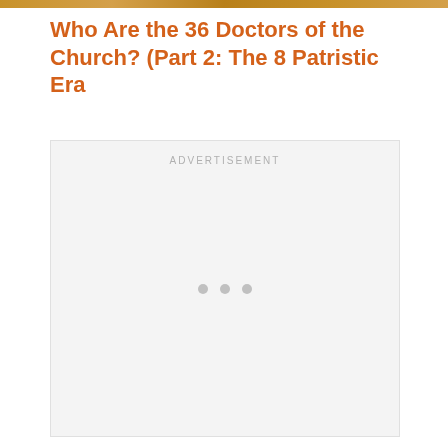[Figure (other): Decorative golden/amber colored image strip at top of page]
Who Are the 36 Doctors of the Church? (Part 2: The 8 Patristic Era
[Figure (other): Advertisement placeholder box with 'ADVERTISEMENT' label and three loading dots]